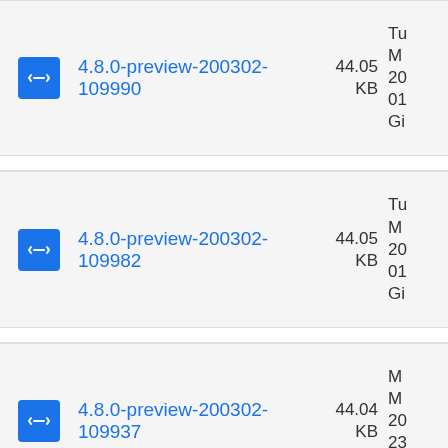4.8.0-preview-200302-109990 44.05 KB Tu M 20 01 Gi
4.8.0-preview-200302-109982 44.05 KB Tu M 20 01 Gi
4.8.0-preview-200302-109937 44.04 KB M M 20 23 Gi